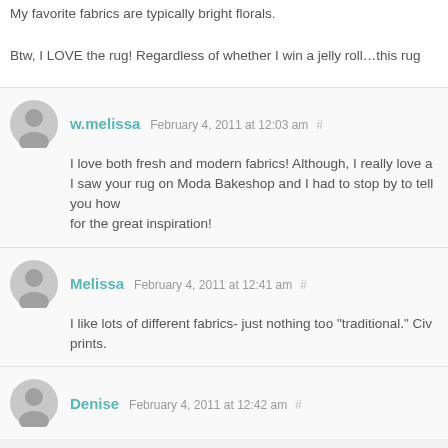My favorite fabrics are typically bright florals.
Btw, I LOVE the rug! Regardless of whether I win a jelly roll…this rug
w.melissa February 4, 2011 at 12:03 am #
I love both fresh and modern fabrics! Although, I really love a I saw your rug on Moda Bakeshop and I had to stop by to tell you how for the great inspiration!
Melissa February 4, 2011 at 12:41 am #
I like lots of different fabrics- just nothing too "traditional." Civ prints.
Denise February 4, 2011 at 12:42 am #